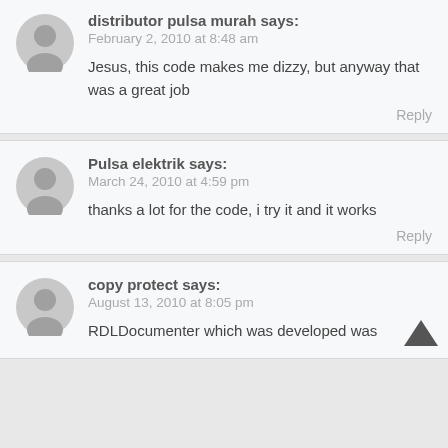distributor pulsa murah says:
February 2, 2010 at 8:48 am
Jesus, this code makes me dizzy, but anyway that was a great job
Reply
Pulsa elektrik says:
March 24, 2010 at 4:59 pm
thanks a lot for the code, i try it and it works
Reply
copy protect says:
August 13, 2010 at 8:05 pm
RDLDocumenter which was developed was